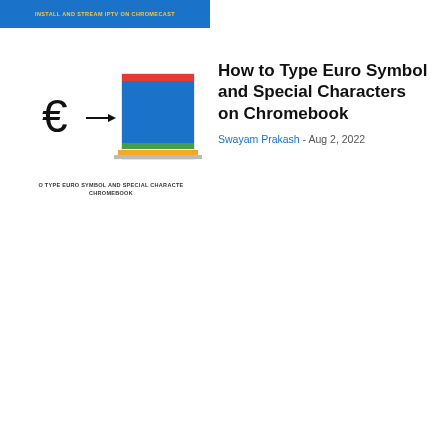INSTALL AND STREAM IPTV ON CHROMECAST
[Figure (illustration): Thumbnail image showing euro symbol with arrow pointing to a laptop/Chromebook screen icon, with caption 'O TYPE EURO SYMBOL AND SPECIAL CHARACTE CHROMEBOOK']
How to Type Euro Symbol and Special Characters on Chromebook
Swayam Prakash - Aug 2, 2022